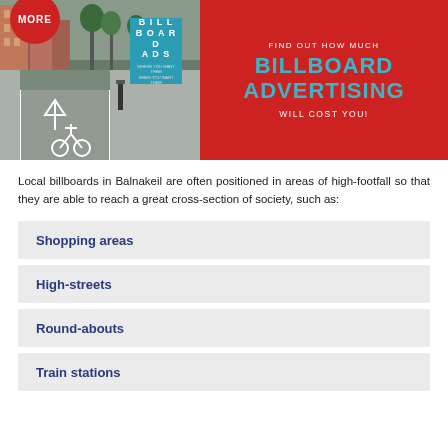[Figure (photo): Banner image showing a cyclist on a cycle lane on a city street on the left half, and a red panel on the right with text 'FIND OUT HOW MUCH BILLBOARD ADVERTISING WILL COST YOU!' in cyan and white lettering. A blue billboard sign is visible in the street photo portion. A red circular badge with 'MORE' text appears at the top left.]
Local billboards in Balnakeil are often positioned in areas of high-footfall so that they are able to reach a great cross-section of society, such as:
Shopping areas
High-streets
Round-abouts
Train stations